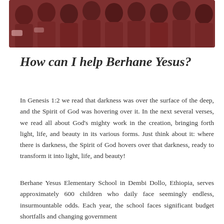[Figure (photo): Group of children in matching dark red/maroon uniforms, photographed from above or at a slight angle, showing them gathered together.]
How can I help Berhane Yesus?
In Genesis 1:2 we read that darkness was over the surface of the deep, and the Spirit of God was hovering over it. In the next several verses, we read all about God's mighty work in the creation, bringing forth light, life, and beauty in its various forms. Just think about it: where there is darkness, the Spirit of God hovers over that darkness, ready to transform it into light, life, and beauty!
Berhane Yesus Elementary School in Dembi Dollo, Ethiopia, serves approximately 600 children who daily face seemingly endless, insurmountable odds. Each year, the school faces significant budget shortfalls and changing government regulations that have periodically since 1991...